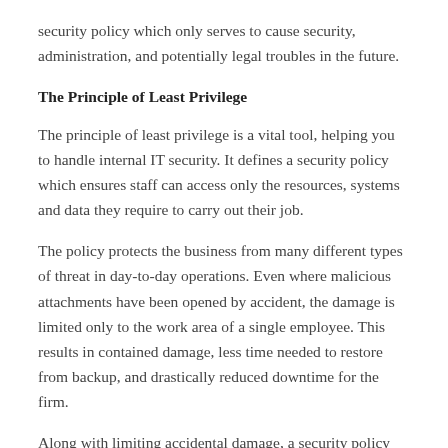security policy which only serves to cause security, administration, and potentially legal troubles in the future.
The Principle of Least Privilege
The principle of least privilege is a vital tool, helping you to handle internal IT security. It defines a security policy which ensures staff can access only the resources, systems and data they require to carry out their job.
The policy protects the business from many different types of threat in day-to-day operations. Even where malicious attachments have been opened by accident, the damage is limited only to the work area of a single employee. This results in contained damage, less time needed to restore from backup, and drastically reduced downtime for the firm.
Along with limiting accidental damage, a security policy...